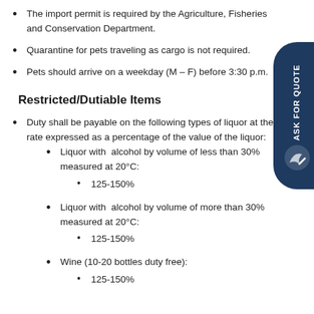The import permit is required by the Agriculture, Fisheries and Conservation Department.
Quarantine for pets traveling as cargo is not required.
Pets should arrive on a weekday (M – F) before 3:30 p.m.
Restricted/Dutiable Items
Duty shall be payable on the following types of liquor at the rate expressed as a percentage of the value of the liquor:
Liquor with alcohol by volume of less than 30% measured at 20°C:
125-150%
Liquor with alcohol by volume of more than 30% measured at 20°C:
125-150%
Wine (10-20 bottles duty free):
125-150%